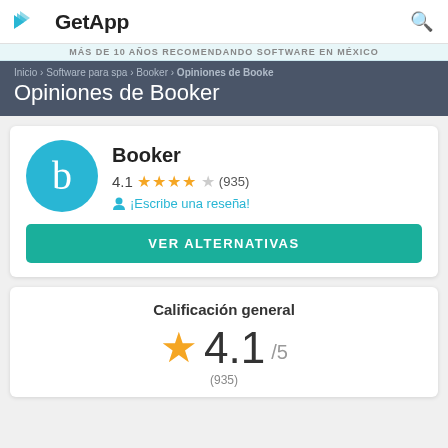GetApp
MÁS DE 10 AÑOS RECOMENDANDO SOFTWARE EN MÉXICO
Inicio › Software para spa › Booker › Opiniones de Booker
Opiniones de Booker
Booker
4.1 ★★★★☆ (935)
¡Escribe una reseña!
VER ALTERNATIVAS
Calificación general
4.1/5
(935)